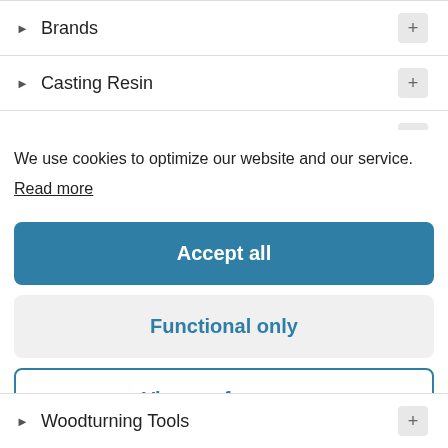Brands
Casting Resin
Hollowing Tools
We use cookies to optimize our website and our service.
Read more
Accept all
Functional only
View preferences
Woodturning Tools